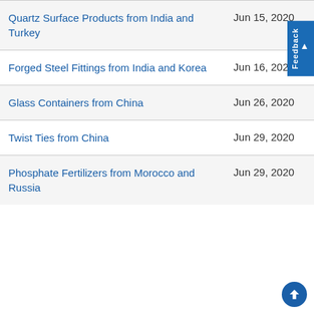| Product | Date |
| --- | --- |
| Quartz Surface Products from India and Turkey | Jun 15, 2020 |
| Forged Steel Fittings from India and Korea | Jun 16, 2020 |
| Glass Containers from China | Jun 26, 2020 |
| Twist Ties from China | Jun 29, 2020 |
| Phosphate Fertilizers from Morocco and Russia | Jun 29, 2020 |